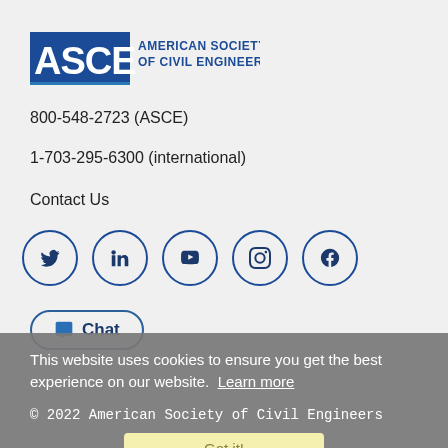[Figure (logo): ASCE American Society of Civil Engineers logo in blue]
800-548-2723 (ASCE)
1-703-295-6300 (international)
Contact Us
[Figure (infographic): Social media icons row: Twitter, LinkedIn, YouTube, Instagram, Facebook — each in a circle]
Chat
This website uses cookies to ensure you get the best experience on our website.  Learn more
© 2022 American Society of Civil Engineers
Got it!
Privacy  |  Terms & Conditions